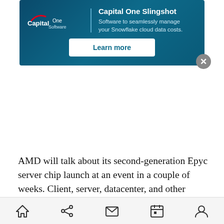[Figure (screenshot): Capital One Software advertisement banner with 'Capital One Slingshot' headline, subtitle 'Software to seamlessly manage your Snowflake cloud data costs.' and a 'Learn more' button on a dark teal background. A close (X) button is visible in the top right corner.]
AMD will talk about its second-generation Epyc server chip launch at an event in a couple of weeks. Client, server, datacenter, and other businesses are expected to grow. This week, AMD announced a partnership with Oracle, offering Epyc-based cloud service instances on Oracle Cloud infrastructure. AMD also recently launched its 32-core AMD Ryzen Threadripper processors for gamers and said those chips are 53 percent faster on multi-thread
[Figure (screenshot): Mobile browser bottom navigation bar with home, share, mail, calendar, and profile icons.]